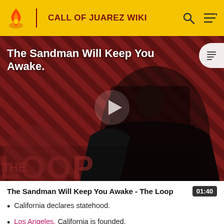CALL OF JUAREZ WIKI
[Figure (screenshot): Video thumbnail showing a figure in black cape against a red and dark diagonal striped background with 'THE LOOP' text overlay and a play button in the center. Title 'The Sandman Will Keep You Awake.' displayed in white text at top left.]
The Sandman Will Keep You Awake - The Loop
California declares statehood.
Los Angeles, California is founded.
Johnny Ringo is born.
Pat Garrett is born.